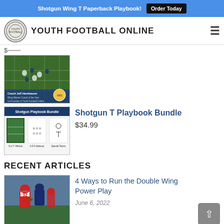Shotgun Wing T Paperback Playbook! Order Today
YOUTH FOOTBALL ONLINE
[Figure (photo): Aerial view of youth football game on grass field with players; overlay text: Coach Jeff Hemhauser, Wing Warner Coach of the Year, Co-Founder of Youth Football Online]
$[price partially visible]
[Figure (illustration): Shotgun Playbook Bundle cover showing three sections: Our T Offense, 4-3-5 Defense, Special Teams with diagrams]
Shotgun T Playbook Bundle
$34.99
RECENT ARTICLES
[Figure (photo): Youth football action photo showing player #32 running with the ball]
4 Ways to Run the Double Wing Power Play
June 6, 2022